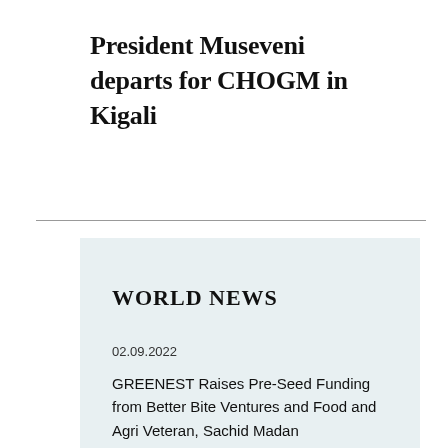President Museveni departs for CHOGM in Kigali
WORLD NEWS
02.09.2022
GREENEST Raises Pre-Seed Funding from Better Bite Ventures and Food and Agri Veteran, Sachid Madan